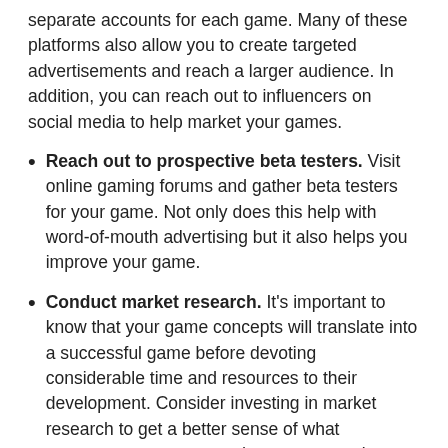separate accounts for each game. Many of these platforms also allow you to create targeted advertisements and reach a larger audience. In addition, you can reach out to influencers on social media to help market your games.
Reach out to prospective beta testers. Visit online gaming forums and gather beta testers for your game. Not only does this help with word-of-mouth advertising but it also helps you improve your game.
Conduct market research. It's important to know that your game concepts will translate into a successful game before devoting considerable time and resources to their development. Consider investing in market research to get a better sense of what consumers expect a good game to contain.
Prepare for the Day-to-Day
Once everything is planned out for getting your video